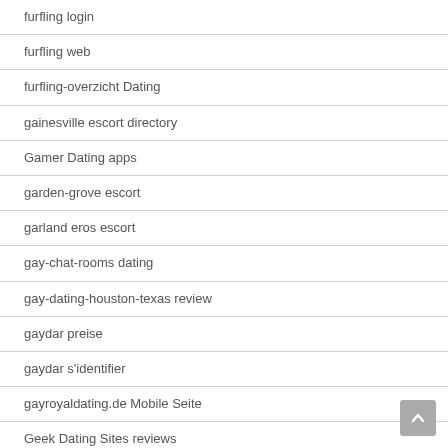furfling login
furfling web
furfling-overzicht Dating
gainesville escort directory
Gamer Dating apps
garden-grove escort
garland eros escort
gay-chat-rooms dating
gay-dating-houston-texas review
gaydar preise
gaydar s'identifier
gayroyaldating.de Mobile Seite
Geek Dating Sites reviews